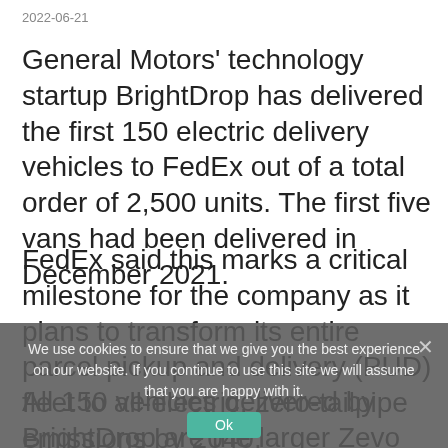2022-06-21
General Motors' technology startup BrightDrop has delivered the first 150 electric delivery vehicles to FedEx out of a total order of 2,500 units. The first five vans had been delivered in December 2021.
FedEx said this marks a critical milestone for the company as it plans to transform its entire parcel pickup and delivery (PUD) fleet to all-electric, zero-tailpipe emissions by 2040.
All 150 vehicles delivered by BrightDrop are the larger Zevo 600 model, formerly known
We use cookies to ensure that we give you the best experience on our website. If you continue to use this site we will assume that you are happy with it.